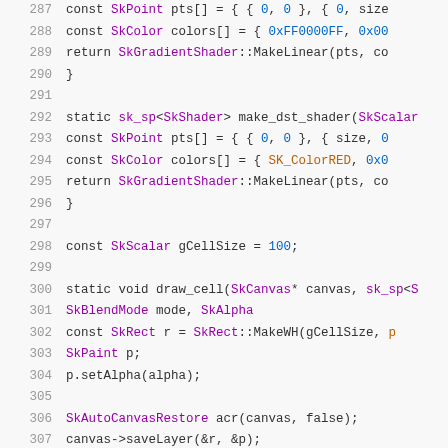[Figure (screenshot): Source code listing in C++ showing lines 287-307 with syntax highlighting. Code shows functions make_dst_shader and draw_cell with SkGradientShader, SkPoint, SkColor, SkCanvas, SkRect, SkPaint, and SkAutoCanvasRestore types.]